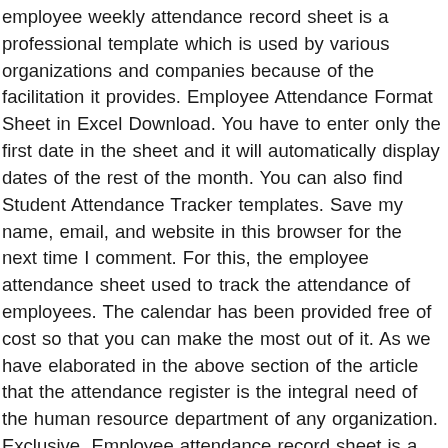employee weekly attendance record sheet is a professional template which is used by various organizations and companies because of the facilitation it provides. Employee Attendance Format Sheet in Excel Download. You have to enter only the first date in the sheet and it will automatically display dates of the rest of the month. You can also find Student Attendance Tracker templates. Save my name, email, and website in this browser for the next time I comment. For this, the employee attendance sheet used to track the attendance of employees. The calendar has been provided free of cost so that you can make the most out of it. As we have elaborated in the above section of the article that the attendance register is the integral need of the human resource department of any organization. Exclusive. Employee attendance record sheet is a document or sheet that is used for marking the presence, absence, sick leave, objects of employees for payroll or the purpose of salary. Child Care Attendance Sheet. This sheet marks their presence or absence in it for a number of purposes.